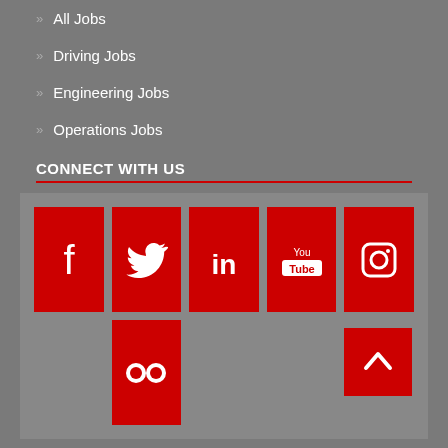» All Jobs
» Driving Jobs
» Engineering Jobs
» Operations Jobs
CONNECT WITH US
[Figure (infographic): Social media icons grid: Facebook, Twitter, LinkedIn, YouTube, Instagram (top row), Flickr (bottom center). All icons are white on red square backgrounds.]
CONTACT US
Click on the department you want to contact: